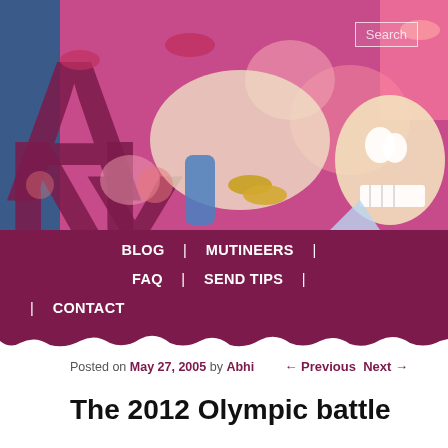[Figure (photo): Colorful artistic collage/painting used as blog header image, featuring figures, flowers, and surreal elements in vivid colors]
BLOG | MUTINEERS | FAQ | SEND TIPS | CONTACT
Posted on May 27, 2005 by Abhi ← Previous Next →
The 2012 Olympic battle
Conventional wisdom says that NYC isn't going to succeed in its bid to land the 2012 Olympic Games. The